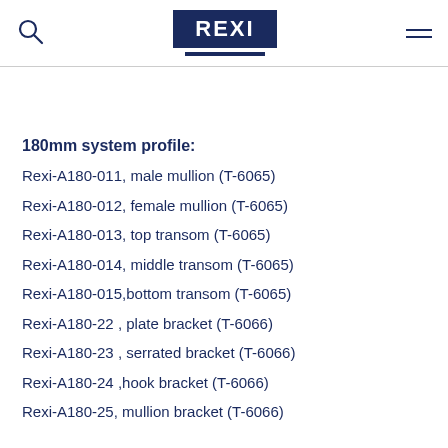REXI
180mm system profile:
Rexi-A180-011, male mullion  (T-6065)
Rexi-A180-012, female mullion  (T-6065)
Rexi-A180-013, top transom (T-6065)
Rexi-A180-014, middle transom (T-6065)
Rexi-A180-015,bottom transom (T-6065)
Rexi-A180-22 , plate bracket (T-6066)
Rexi-A180-23 , serrated bracket (T-6066)
Rexi-A180-24 ,hook bracket (T-6066)
Rexi-A180-25, mullion bracket (T-6066)